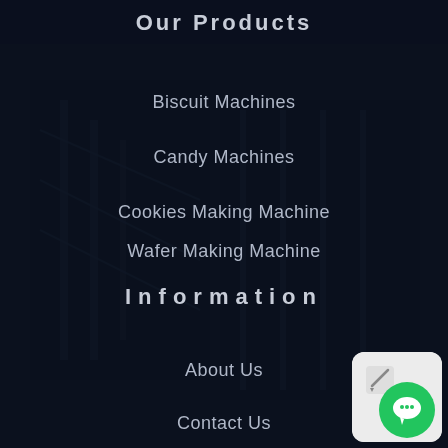Our Products
Biscuit Machines
Candy Machines
Cookies Making Machine
Wafer Making Machine
Information
About Us
Contact Us
[Figure (illustration): Chat widget button in bottom-right corner with green circular icon]